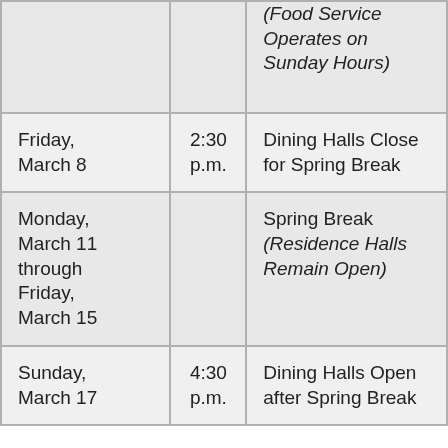| Date | Time | Event |
| --- | --- | --- |
|  |  | (Food Service Operates on Sunday Hours) |
| Friday, March 8 | 2:30 p.m. | Dining Halls Close for Spring Break |
| Monday, March 11 through Friday, March 15 |  | Spring Break (Residence Halls Remain Open) |
| Sunday, March 17 | 4:30 p.m. | Dining Halls Open after Spring Break |